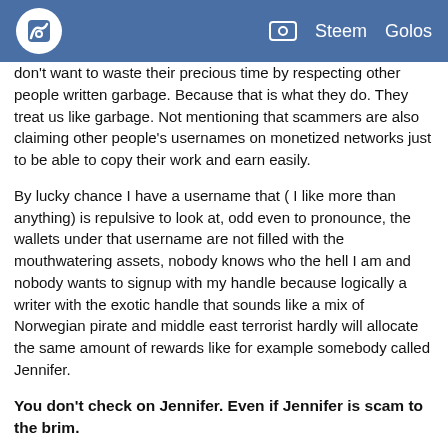Steem  Golos
don't want to waste their precious time by respecting other people written garbage. Because that is what they do. They treat us like garbage. Not mentioning that scammers are also claiming other people's usernames on monetized networks just to be able to copy their work and earn easily.
By lucky chance I have a username that ( I like more than anything) is repulsive to look at, odd even to pronounce, the wallets under that username are not filled with the mouthwatering assets, nobody knows who the hell I am and nobody wants to signup with my handle because logically a writer with the exotic handle that sounds like a mix of Norwegian pirate and middle east terrorist hardly will allocate the same amount of rewards like for example somebody called Jennifer.
You don't check on Jennifer. Even if Jennifer is scam to the brim.
So, I usually do not check if somebody copies my articles, because I do not consider my content interesting enough for the scammers. I also have an app that monitors my username occurrences online but I check it rarely because there is not much